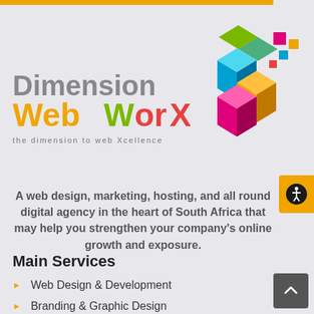[Figure (logo): Dimension WebWorX logo with colorful 3D cube graphic and tagline 'the dimension to web Xcellence']
A web design, marketing, hosting, and all round digital agency in the heart of South Africa that may help you strengthen your company's online growth and exposure.
Main Services
Web Design & Development
Branding & Graphic Design